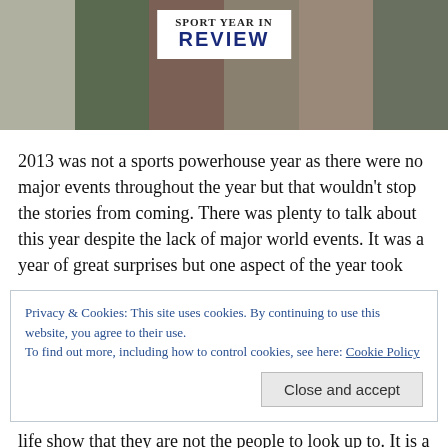[Figure (photo): Collage of sports photos with a white box overlay showing 'SPORT YEAR IN REVIEW' title]
2013 was not a sports powerhouse year as there were no major events throughout the year but that wouldn't stop the stories from coming. There was plenty to talk about this year despite the lack of major world events. It was a year of great surprises but one aspect of the year took
Privacy & Cookies: This site uses cookies. By continuing to use this website, you agree to their use.
To find out more, including how to control cookies, see here: Cookie Policy
life show that they are not the people to look up to. It is a